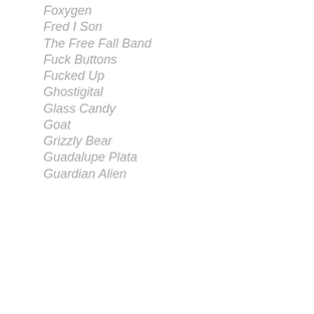Four Tet
Foxygen
Fred I Son
The Free Fall Band
Fuck Buttons
Fucked Up
Ghostigital
Glass Candy
Goat
Grizzly Bear
Guadalupe Plata
Guardian Alien